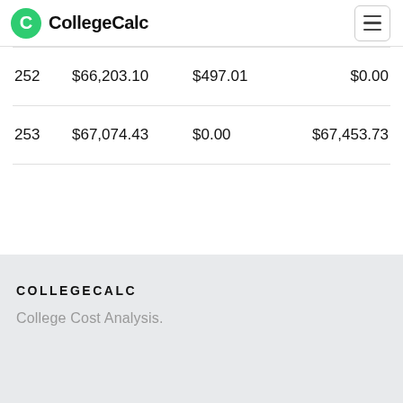CollegeCalc
| 252 | $66,203.10 | $497.01 | $0.00 |
| 253 | $67,074.43 | $0.00 | $67,453.73 |
COLLEGECALC
College Cost Analysis.